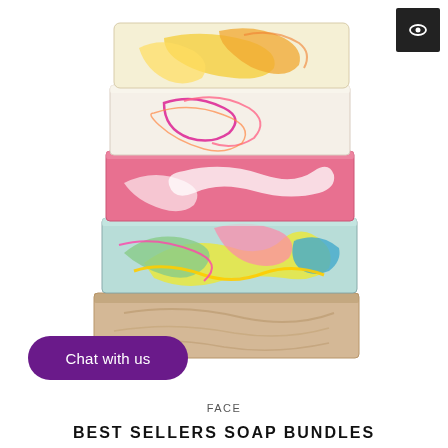[Figure (photo): Stack of five colorful artisan soap bars piled on top of each other. From top: a cream/yellow swirled soap, a white soap with pink/orange swirls, a pink soap with white swirls, a multi-colored soap with teal/yellow/green/pink swirls, and a beige/tan soap at the bottom.]
Chat with us
FACE
BEST SELLERS SOAP BUNDLES